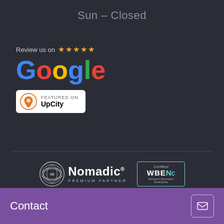Sun – Closed
[Figure (logo): Review us on Google with 5 stars and Featured on UpCity badge]
[Figure (logo): Nomadic Premium Partner badge and WBENC Certified Women's Business Enterprise badge]
[Figure (logo): GSA logo, 2022 Family Friendly badge, and 2017 Finalist Top HAT Awards badge]
Contact